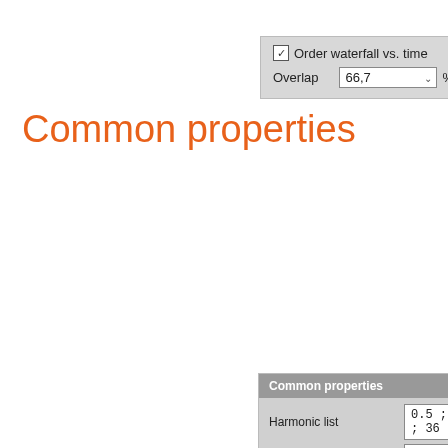[Figure (screenshot): UI widget showing a checkbox 'Order waterfall vs. time' and an Overlap field with value 66,7 and % unit]
Common properties
[Figure (screenshot): Common properties panel with fields: Harmonic list (0.5 ; 1 ; 2 ; 3 ; 36), FFT window (Blackman), Amplitude (RMS), Data collection (Continuous), Bin update (Always), Spectral weighting (None), and a waveform diagram showing REF level lines and a sinusoidal curve on a time axis]